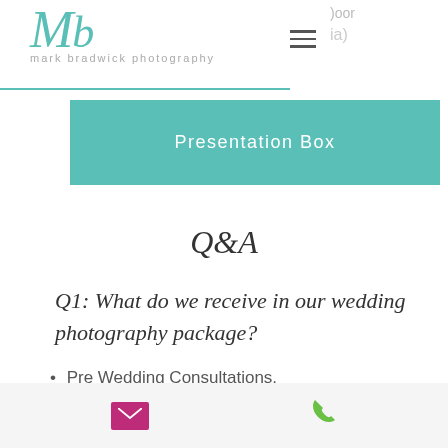mark bradwick photography
Presentation Box
Q&A
Q1: What do we receive in our wedding photography package?
Pre Wedding Consultations.
Meticulous post production on